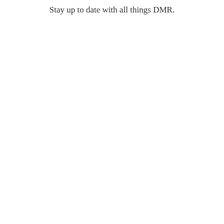Stay up to date with all things DMR.